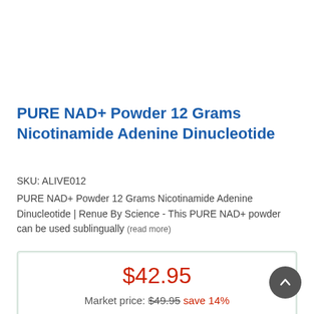PURE NAD+ Powder 12 Grams Nicotinamide Adenine Dinucleotide
SKU: ALIVE012
PURE NAD+ Powder 12 Grams Nicotinamide Adenine Dinucleotide | Renue By Science - This PURE NAD+ powder can be used sublingually (read more)
$42.95
Market price: $49.95  save 14%